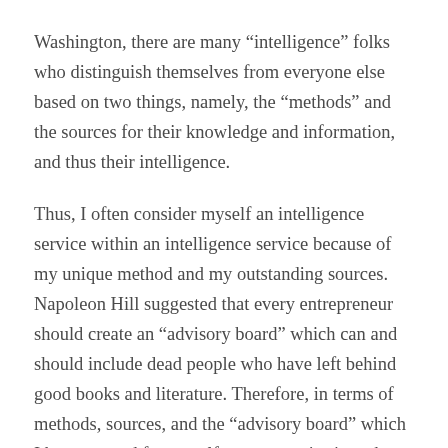Washington, there are many “intelligence” folks who distinguish themselves from everyone else based on two things, namely, the “methods” and the sources for their knowledge and information, and thus their intelligence.
Thus, I often consider myself an intelligence service within an intelligence service because of my unique method and my outstanding sources. Napoleon Hill suggested that every entrepreneur should create an “advisory board” which can and should include dead people who have left behind good books and literature. Therefore, in terms of methods, sources, and the “advisory board” which I have created for myself, my enterprise is perhaps primus inter pares amongst the Washington intelligentsia and intelligence community, if not ahead of the entire pack. To my mind at any, I be...